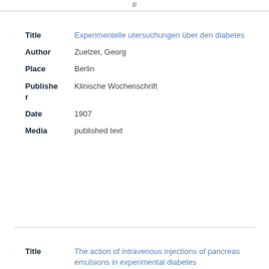p
| Field | Value |
| --- | --- |
| Title | Experimentelle utersuchungen über den diabetes |
| Author | Zuelzer, Georg |
| Place | Berlin |
| Publisher | Klinische Wochenschrift |
| Date | 1907 |
| Media | published text |
| Field | Value |
| --- | --- |
| Title | The action of intravenous injections of pancreas emulsions in experimental diabetes |